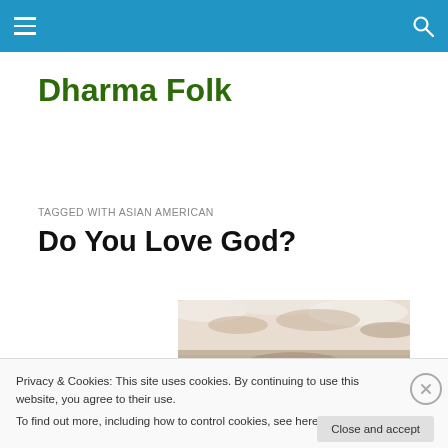Dharma Folk
TAGGED WITH ASIAN AMERICAN
Do You Love God?
[Figure (photo): Partial photo of a person in winter/snowy setting, partially obscured by cookie banner]
Privacy & Cookies: This site uses cookies. By continuing to use this website, you agree to their use.
To find out more, including how to control cookies, see here: Cookie Policy
Close and accept